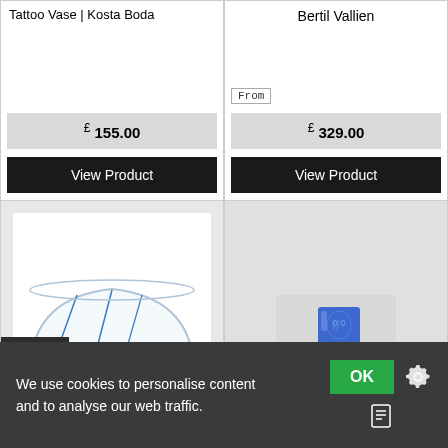Tattoo Vase | Kosta Boda
£ 155.00
View Product
Bertil Vallien
From
£ 329.00
View Product
[Figure (photo): Glass bowl with blue decorative lines, product photo on white background]
[Figure (photo): Blue glass vase with face design on white pedestal, product photo]
We use cookies to personalise content and to analyse our web traffic.
OK